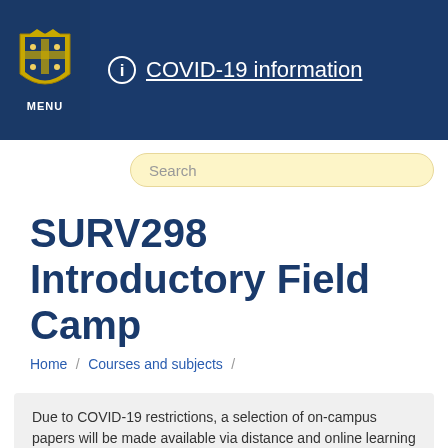MENU | COVID-19 information
SURV298 Introductory Field Camp
Home / Courses and subjects /
Due to COVID-19 restrictions, a selection of on-campus papers will be made available via distance and online learning for eligible students.